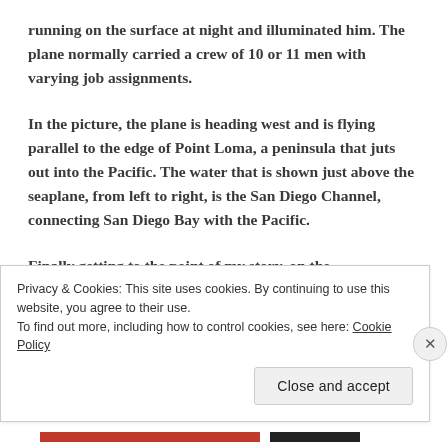running on the surface at night and illuminated him. The plane normally carried a crew of 10 or 11 men with varying job assignments.
In the picture, the plane is heading west and is flying parallel to the edge of Point Loma, a peninsula that juts out into the Pacific. The water that is shown just above the seaplane, from left to right, is the San Diego Channel, connecting San Diego Bay with the Pacific.
Finally getting to the point of my story, on the
Privacy & Cookies: This site uses cookies. By continuing to use this website, you agree to their use.
To find out more, including how to control cookies, see here: Cookie Policy
Close and accept